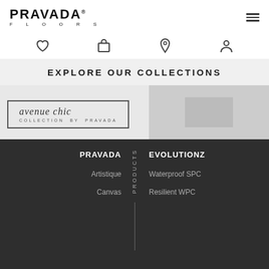[Figure (logo): PRAVADA FLOORS logo with brand name and FLOORS subtitle]
[Figure (infographic): Navigation icons row: heart (favorites), shopping bag, location pin, user account]
EXPLORE OUR COLLECTIONS
[Figure (logo): Avenue Chic Collection by Pravada logo in bordered box, and partially visible second collection to the right]
PRAVADA
PRODUCTS
EVOLUTIONZ
Artistique
Canvas
Waterproof SPC
Resilient WPC